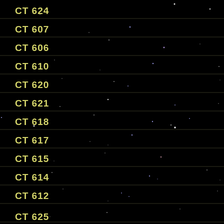[Figure (photo): Astronomical star field chart showing rows of sky fields labeled CT 624, CT 607, CT 606, CT 610, CT 620, CT 621, CT 618, CT 617, CT 615, CT 614, CT 612, CT 625, with horizontal dividing lines and scattered stars on black background]
CT 624
CT 607
CT 606
CT 610
CT 620
CT 621
CT 618
CT 617
CT 615
CT 614
CT 612
CT 625